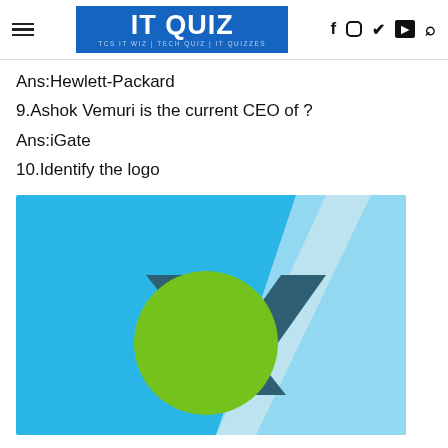IT QUIZ | TCS IT WIZ | TECH QUIZ | IT QUIZZES
Ans:Hewlett-Packard
9.Ashok Vemuri is the current CEO of ?
Ans:iGate
10.Identify the logo
[Figure (logo): IT quiz logo image showing a stylized checkmark/V shape in dark teal with a green circle on a blue background, with a light beam/triangle in lighter blue-grey on the right side.]